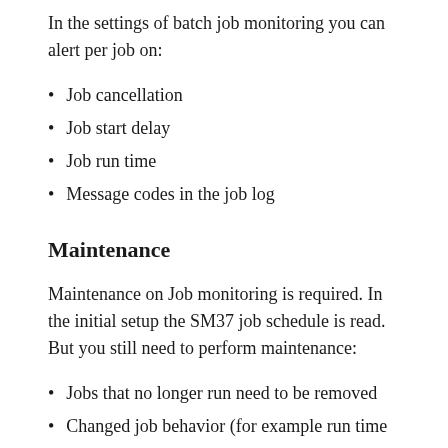In the settings of batch job monitoring you can alert per job on:
Job cancellation
Job start delay
Job run time
Message codes in the job log
Maintenance
Maintenance on Job monitoring is required. In the initial setup the SM37 job schedule is read. But you still need to perform maintenance:
Jobs that no longer run need to be removed
Changed job behavior (for example run time